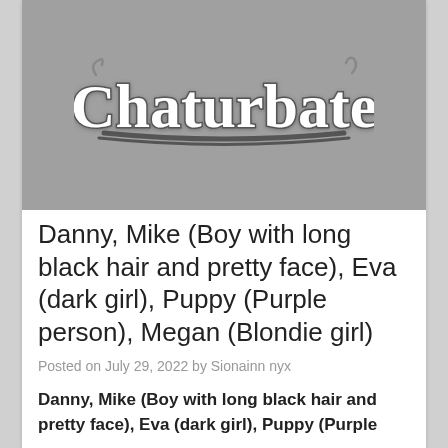[Figure (logo): Chaturbate logo in stylized script font on a gray background]
Danny, Mike (Boy with long black hair and pretty face), Eva (dark girl), Puppy (Purple person), Megan (Blondie girl)
Posted on July 29, 2022 by Sionainn nyx
Danny, Mike (Boy with long black hair and pretty face), Eva (dark girl), Puppy (Purple